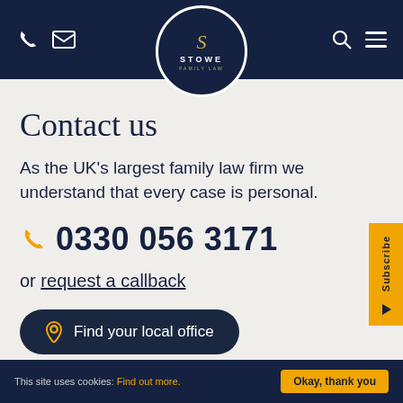Stowe Family Law – Contact us page header with logo, phone and email icons, search and menu icons
Contact us
As the UK's largest family law firm we understand that every case is personal.
0330 056 3171
or request a callback
Find your local office
This site uses cookies: Find out more. Okay, thank you